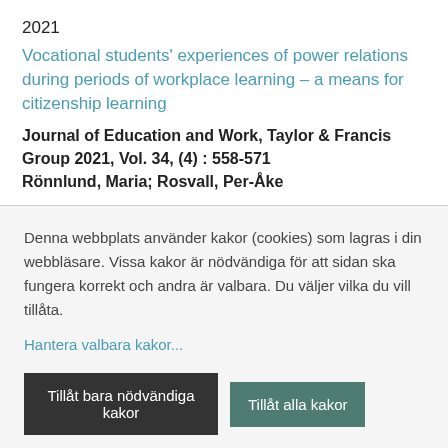2021
Vocational students' experiences of power relations during periods of workplace learning – a means for citizenship learning
Journal of Education and Work, Taylor & Francis Group 2021, Vol. 34, (4) : 558-571
Rönnlund, Maria; Rosvall, Per-Åke
Denna webbplats använder kakor (cookies) som lagras i din webbläsare. Vissa kakor är nödvändiga för att sidan ska fungera korrekt och andra är valbara. Du väljer vilka du vill tillåta.
Hantera valbara kakor...
Tillåt bara nödvändiga kakor
Tillåt alla kakor